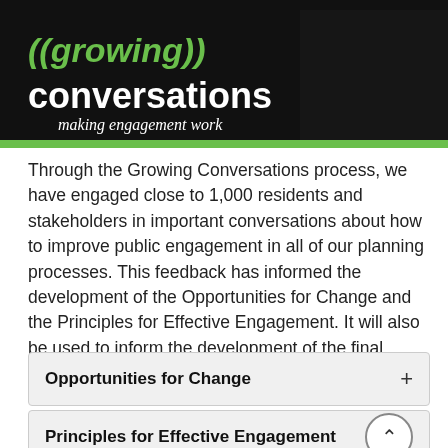[Figure (logo): Growing Conversations header banner with dark background, green text reading '((growing))' and white bold text 'conversations', with italic tagline 'making engagement work']
Through the Growing Conversations process, we have engaged close to 1,000 residents and stakeholders in important conversations about how to improve public engagement in all of our planning processes. This feedback has informed the development of the Opportunities for Change and the Principles for Effective Engagement. It will also be used to inform the development of the final Engagement Action Plan.
Opportunities for Change
Principles for Effective Engagement